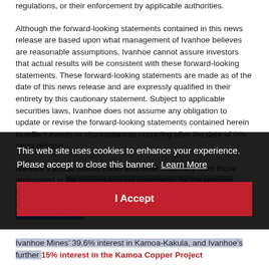regulations, or their enforcement by applicable authorities.
Although the forward-looking statements contained in this news release are based upon what management of Ivanhoe believes are reasonable assumptions, Ivanhoe cannot assure investors that actual results will be consistent with these forward-looking statements. These forward-looking statements are made as of the date of this news release and are expressly qualified in their entirety by this cautionary statement. Subject to applicable securities laws, Ivanhoe does not assume any obligation to update or revise the forward-looking statements contained herein to reflect events or circumstances occurring after the date of this news release.
Ivanhoe's actual results could also differ materially from those anticipated in the forward-looking statements for the reasons described in the "Risk Factors" section of Ivanhoe's most recent Annual Information Form, dated [date], and available at [url].
Cookie banner: This web site uses cookies to enhance your experience. Please accept to close this banner. Learn More
I Accept
Ivanhoe Mines' 39.6% interest in Kamoa-Kakula, and Ivanhoe's further 15% interest in the Kamoa Copper Project